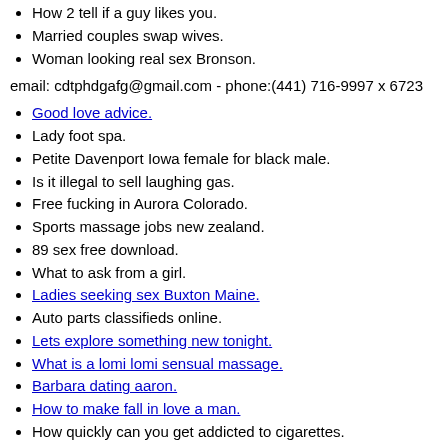How 2 tell if a guy likes you.
Married couples swap wives.
Woman looking real sex Bronson.
email: cdtphdgafg@gmail.com - phone:(441) 716-9997 x 6723
Good love advice.
Lady foot spa.
Petite Davenport Iowa female for black male.
Is it illegal to sell laughing gas.
Free fucking in Aurora Colorado.
Sports massage jobs new zealand.
89 sex free download.
What to ask from a girl.
Ladies seeking sex Buxton Maine.
Auto parts classifieds online.
Lets explore something new tonight.
What is a lomi lomi sensual massage.
Barbara dating aaron.
How to make fall in love a man.
How quickly can you get addicted to cigarettes.
Fake profile online dating.
Women seeking casual sex Arp Texas.
Why does radiometric dating work.
Mature personals looking old lady.
Nambu pistol dating.